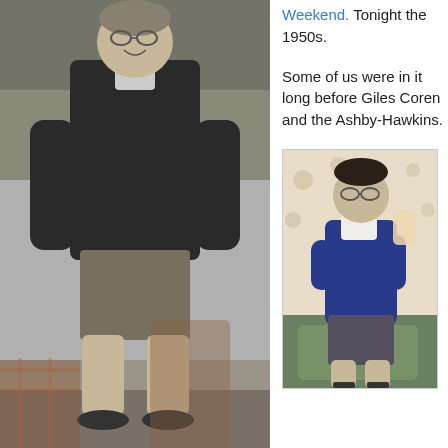[Figure (photo): Black and white photograph of a young boy wearing glasses, a dark jacket, and shorts, standing outdoors, 1950s style.]
Weekend. Tonight the 1950s.
Some of us were in it long before Giles Coren and the Ashby-Hawkins.
[Figure (photo): Color photograph of a young boy wearing glasses, a blue vest/jumper over a white shirt, and shorts, holding an object, seated on a green footstool in a vintage 1950s-style room.]